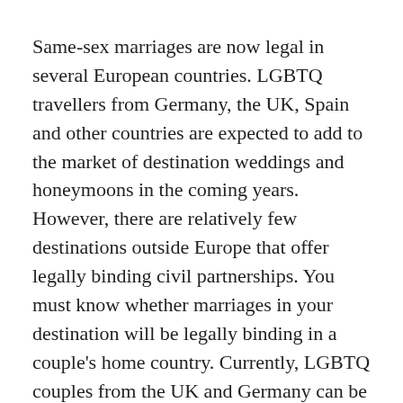Same-sex marriages are now legal in several European countries. LGBTQ travellers from Germany, the UK, Spain and other countries are expected to add to the market of destination weddings and honeymoons in the coming years. However, there are relatively few destinations outside Europe that offer legally binding civil partnerships. You must know whether marriages in your destination will be legally binding in a couple’s home country. Currently, LGBTQ couples from the UK and Germany can be legally married in Argentina, Brazil, Thailand and South Africa. Argentina, for example, has an express marriage category for foreign LGBTQ couples called ‘Casamiento Express’, which enables them getting married in five days.
If your country does not offer even legal civil partnerships, you can offer symbolic or commitment ceremonies, which is the fastest growing globally...